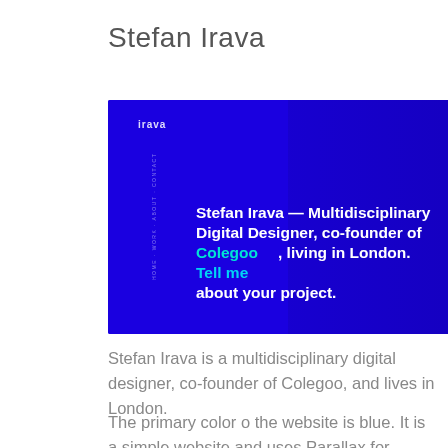Stefan Irava
[Figure (screenshot): Screenshot of Stefan Irava's personal website with a blue background showing the text: Stefan Irava — Multidisciplinary Digital Designer, co-founder of Colegoo, living in London. Tell me about your project.]
Stefan Irava is a multidisciplinary digital designer, co-founder of Colegoo, and lives in London.
The primary color o the website is blue. It is a simple website and uses Parallax for screen